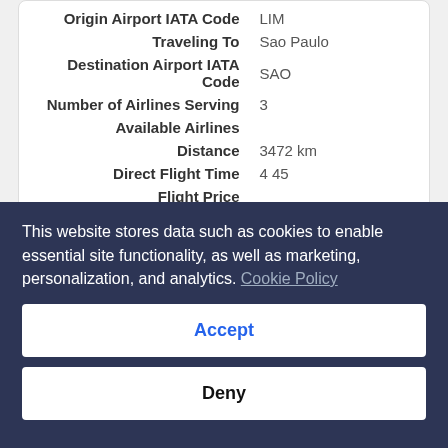| Field | Value |
| --- | --- |
| Origin Airport IATA Code | LIM |
| Traveling To | Sao Paulo |
| Destination Airport IATA Code | SAO |
| Number of Airlines Serving | 3 |
| Available Airlines |  |
| Distance | 3472 km |
| Direct Flight Time | 4 45 |
| Flight Price |  |
Frequently asked questions
Is it possible to fly from Lima to Sao Paulo right now?
This website stores data such as cookies to enable essential site functionality, as well as marketing, personalization, and analytics. Cookie Policy
Accept
Deny